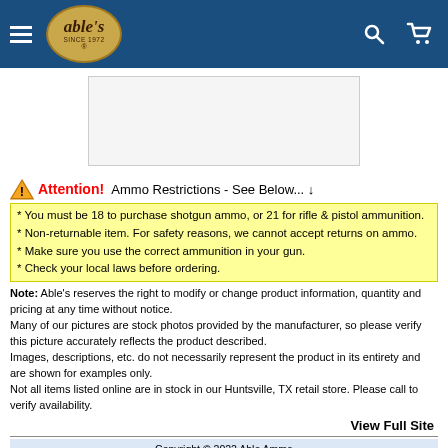Able's (navigation header with hamburger menu, logo, search and cart icons)
[Figure (photo): Product image placeholder area (white/light grey box)]
⚠ Attention! Ammo Restrictions - See Below... ↓
* You must be 18 to purchase shotgun ammo, or 21 for rifle & pistol ammunition.
* Non-returnable item. For safety reasons, we cannot accept returns on ammo.
* Make sure you use the correct ammunition in your gun.
* Check your local laws before ordering.
Note: Able's reserves the right to modify or change product information, quantity and pricing at any time without notice.
Many of our pictures are stock photos provided by the manufacturer, so please verify this picture accurately reflects the product described.
Images, descriptions, etc. do not necessarily represent the product in its entirety and are shown for examples only.
Not all items listed online are in stock in our Huntsville, TX retail store. Please call to verify availability.
View Full Site
Copyright © 2022 Able Ammo
Not all products shown are available for immediate delivery. Prices subject to change without notice due to availability.
(Images, photographs, descriptions, etc. do not necessarily represent the product in its entirety, they are shown for examples only.)
Database is currently down for system maintenance -- Error!!